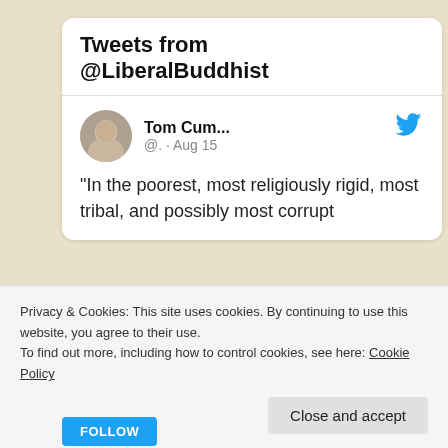Tweets from @LiberalBuddhist
[Figure (screenshot): Tweet card showing user Tom Cum... @. · Aug 15 with text: "In the poorest, most religiously rigid, most tribal, and possibly most corrupt]
Follow Blog via Email
Privacy & Cookies: This site uses cookies. By continuing to use this website, you agree to their use.
To find out more, including how to control cookies, see here: Cookie Policy
Close and accept